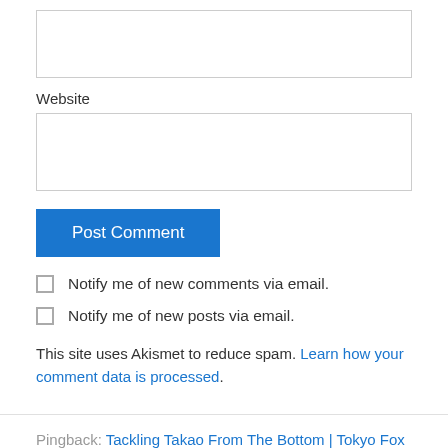[Figure (screenshot): Empty text input box at the top of the page]
Website
[Figure (screenshot): Empty website input box]
[Figure (screenshot): Blue 'Post Comment' button]
Notify me of new comments via email.
Notify me of new posts via email.
This site uses Akismet to reduce spam. Learn how your comment data is processed.
Pingback: Tackling Takao From The Bottom | Tokyo Fox (東京狐)